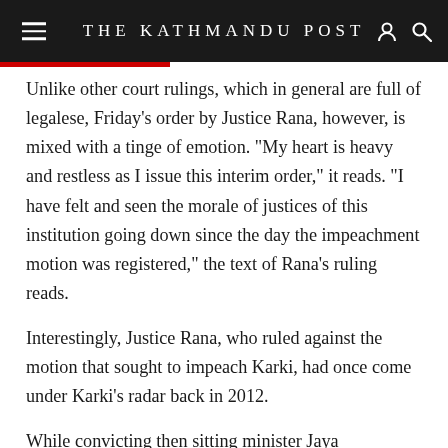THE KATHMANDU POST
Unlike other court rulings, which in general are full of legalese, Friday’s order by Justice Rana, however, is mixed with a tinge of emotion. “My heart is heavy and restless as I issue this interim order,” it reads. “I have felt and seen the morale of justices of this institution going down since the day the impeachment motion was registered,” the text of Rana’s ruling reads.
Interestingly, Justice Rana, who ruled against the motion that sought to impeach Karki, had once come under Karki’s radar back in 2012.
While convicting then sitting minister Jaya Prakash Gupta of corruption in 2012, a bench comprising Justices Karki and Tarkraj Bhatta had overturned a 2007 decision taken by a Special Court bench of judges comprising Rana, in which Gupta